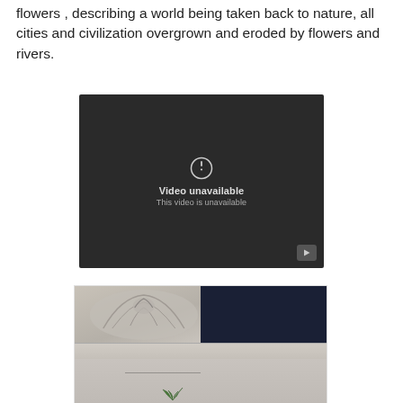flowers , describing a world being taken back to nature, all cities and civilization overgrown and eroded by flowers and rivers.
[Figure (screenshot): Embedded video player showing 'Video unavailable / This video is unavailable' message on a dark background with a YouTube play button in the bottom right corner.]
[Figure (photo): Photograph of a stone architectural detail — a carved ornamental capital or cornice with leaf motifs on the left, next to a dark navy panel or door on the right, with stone block steps/ledge below and a small green plant growing from the stone.]